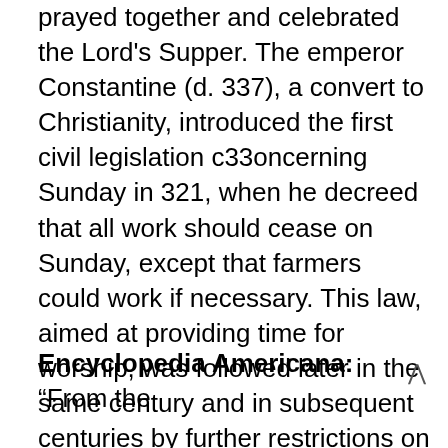prayed together and celebrated the Lord's Supper. The emperor Constantine (d. 337), a convert to Christianity, introduced the first civil legislation c33oncerning Sunday in 321, when he decreed that all work should cease on Sunday, except that farmers could work if necessary. This law, aimed at providing time for worship, was followed later in the same century and in subsequent centuries by further restrictions on Sunday activities. (15th edition, vol. 11, pg. 392) [Note: After the council of Nicaea, Constantine converted to Arianism and was baptized as an Arian. See: Heresies Confronted by the Early Church, p. 5.)
Encyclopedia Americana: "From the